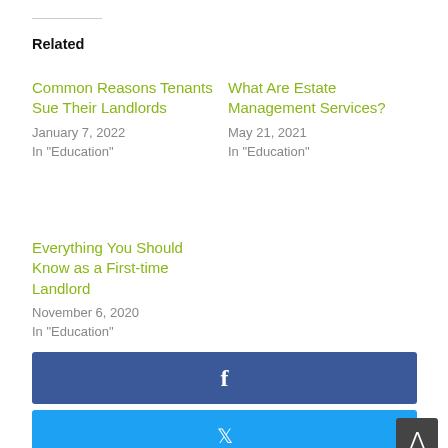Related
Common Reasons Tenants Sue Their Landlords
January 7, 2022
In "Education"
What Are Estate Management Services?
May 21, 2021
In "Education"
Everything You Should Know as a First-time Landlord
November 6, 2020
In "Education"